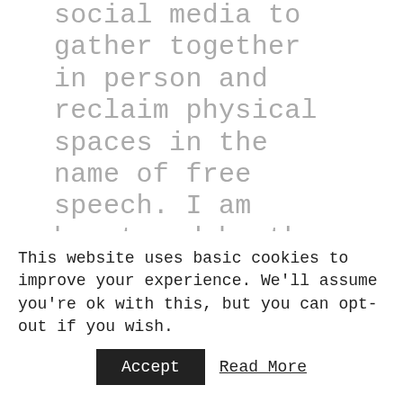social media to gather together in person and reclaim physical spaces in the name of free speech. I am heartened by the fact that, in England, the picnic is a political act. Maybe, in Scotland too, where I shall at the same time be picnicking at Orwell's house on Jura. At the edge of Airstrip One, facing Oceania, I will remind myself firstly that, in
This website uses basic cookies to improve your experience. We'll assume you're ok with this, but you can opt-out if you wish.